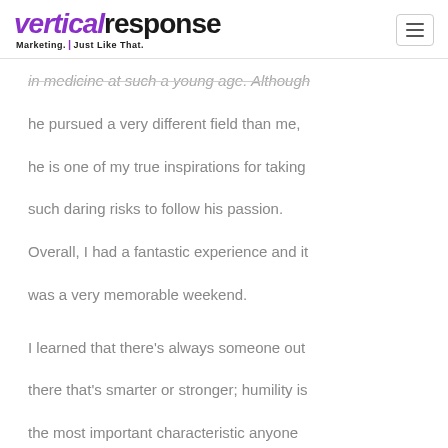VerticalResponse Marketing. Just Like That.
in medicine at such a young age. Although he pursued a very different field than me, he is one of my true inspirations for taking such daring risks to follow his passion. Overall, I had a fantastic experience and it was a very memorable weekend.
I learned that there’s always someone out there that’s smarter or stronger; humility is the most important characteristic anyone can have when trying to build a project (or a business, in my case). The event was filled with amazing people and people with